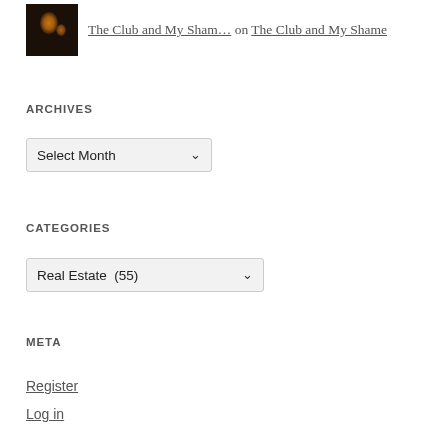[Figure (photo): Small thumbnail photo showing a dark nighttime scene with warm orange/amber glowing lights]
The Club and My Sham… on The Club and My Shame
ARCHIVES
Select Month (dropdown)
CATEGORIES
Real Estate  (55) (dropdown)
META
Register
Log in